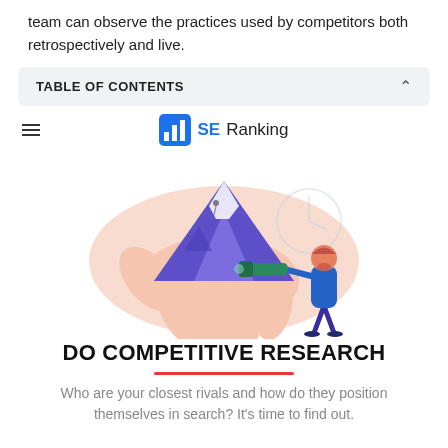team can observe the practices used by competitors both retrospectively and live.
TABLE OF CONTENTS
[Figure (logo): SE Ranking logo with bar chart icon, hamburger menu icon to the left]
[Figure (illustration): Illustrated scene: a person in blue looking through a telescope/spyglass, standing beside a giant hand holding a purple mountain with climbers, on a white circular background]
DO COMPETITIVE RESEARCH
Who are your closest rivals and how do they position themselves in search? It's time to find out.